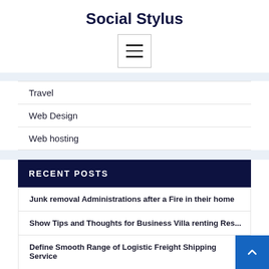Social Stylus
[Figure (other): Hamburger menu button (three horizontal lines) inside a bordered rectangle]
Travel
Web Design
Web hosting
RECENT POSTS
Junk removal Administrations after a Fire in their home
Show Tips and Thoughts for Business Villa renting Res...
Define Smooth Range of Logistic Freight Shipping Service